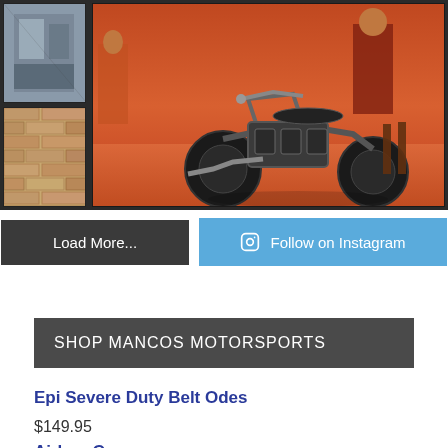[Figure (photo): Photo collage showing a motorcycle (appears vintage/classic, orange/red background) and a brick wall scene on the left side panels]
Load More...
Follow on Instagram
SHOP MANCOS MOTORSPORTS
Epi Severe Duty Belt Odes
$149.95
Airbox Cover